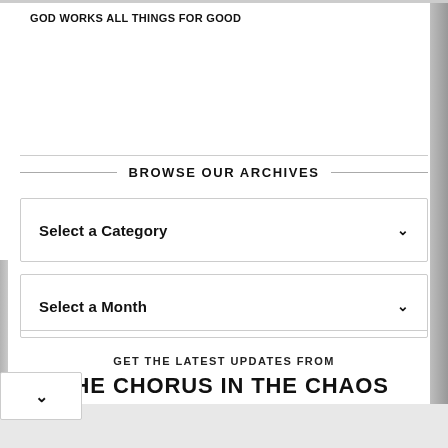GOD WORKS ALL THINGS FOR GOOD
BROWSE OUR ARCHIVES
Select a Category
Select a Month
GET THE LATEST UPDATES FROM
THE CHORUS IN THE CHAOS